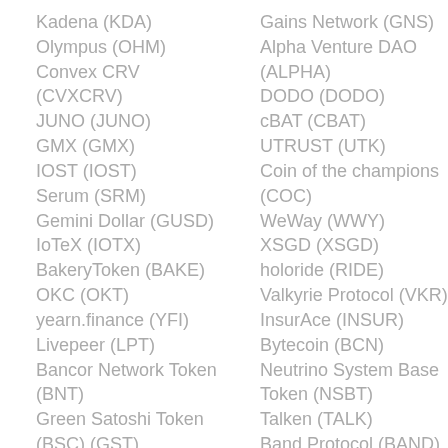Kadena (KDA)
Olympus (OHM)
Convex CRV (CVXCRV)
JUNO (JUNO)
GMX (GMX)
IOST (IOST)
Serum (SRM)
Gemini Dollar (GUSD)
IoTeX (IOTX)
BakeryToken (BAKE)
OKC (OKT)
yearn.finance (YFI)
Livepeer (LPT)
Bancor Network Token (BNT)
Green Satoshi Token (BSC) (GST)
SafeMoon [OLD] (SAFEMOON)
Gains Network (GNS)
Alpha Venture DAO (ALPHA)
DODO (DODO)
cBAT (CBAT)
UTRUST (UTK)
Coin of the champions (COC)
WeWay (WWY)
XSGD (XSGD)
holoride (RIDE)
Valkyrie Protocol (VKR)
InsurAce (INSUR)
Bytecoin (BCN)
Neutrino System Base Token (NSBT)
Talken (TALK)
Band Protocol (BAND)
Beta Finance (BETA)